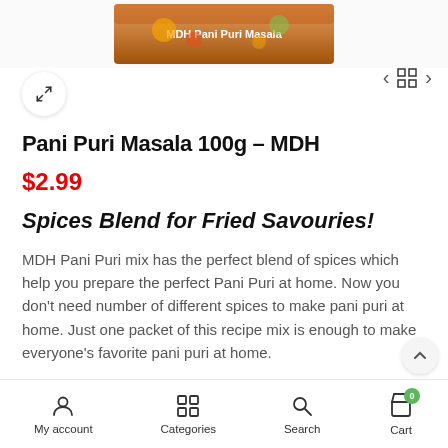[Figure (photo): Product image of MDH Pani Puri Masala 100g box shown at top of page]
Pani Puri Masala 100g – MDH
$2.99
Spices Blend for Fried Savouries!
MDH Pani Puri mix has the perfect blend of spices which help you prepare the perfect Pani Puri at home. Now you don't need number of different spices to make pani puri at home. Just one packet of this recipe mix is enough to make everyone's favorite pani puri at home.
My account   Categories   Search   Cart